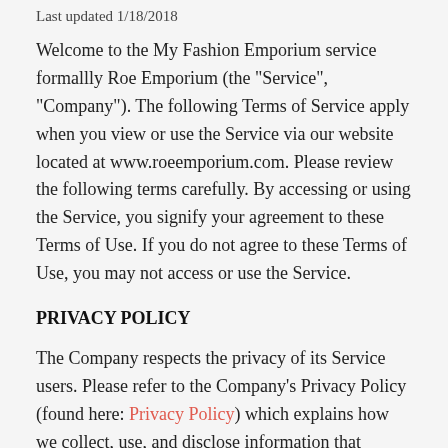Last updated 1/18/2018
Welcome to the My Fashion Emporium service formallly Roe Emporium (the "Service", "Company"). The following Terms of Service apply when you view or use the Service via our website located at www.roeemporium.com. Please review the following terms carefully. By accessing or using the Service, you signify your agreement to these Terms of Use. If you do not agree to these Terms of Use, you may not access or use the Service.
PRIVACY POLICY
The Company respects the privacy of its Service users. Please refer to the Company's Privacy Policy (found here: Privacy Policy) which explains how we collect, use, and disclose information that pertains to your privacy. When you access